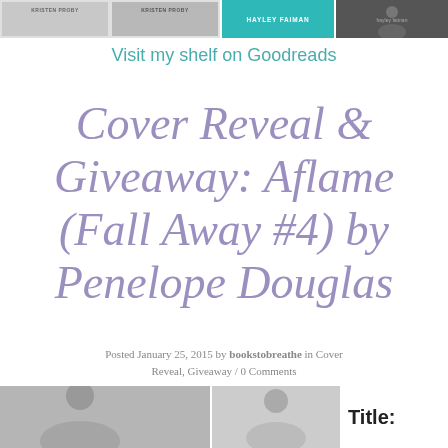[Figure (photo): Top banner with book cover thumbnails by Kristen Proby and Hayley Faiman]
Visit my shelf on Goodreads
Cover Reveal & Giveaway: Aflame (Fall Away #4) by Penelope Douglas
Posted January 25, 2015 by bookstobreathe in Cover Reveal, Giveaway / 0 Comments
[Figure (photo): Bottom strip with photo thumbnails and 'Title:' label]